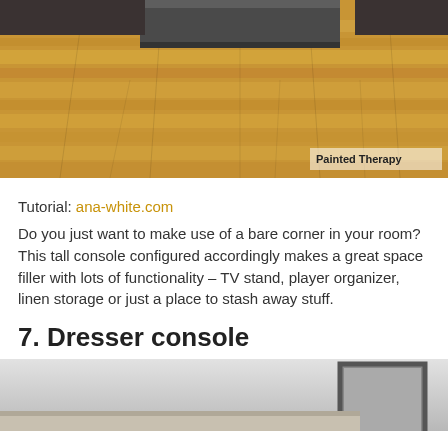[Figure (photo): Photo of hardwood floor with a dark grey bed base/console at the top, showing warm honey-toned wood planks. Watermark reads 'Painted Therapy' in bottom right corner.]
Tutorial: ana-white.com
Do you just want to make use of a bare corner in your room? This tall console configured accordingly makes a great space filler with lots of functionality – TV stand, player organizer, linen storage or just a place to stash away stuff.
7. Dresser console
[Figure (photo): Partial photo of a dresser console in a room with light grey walls, showing the top edge of the furniture piece.]